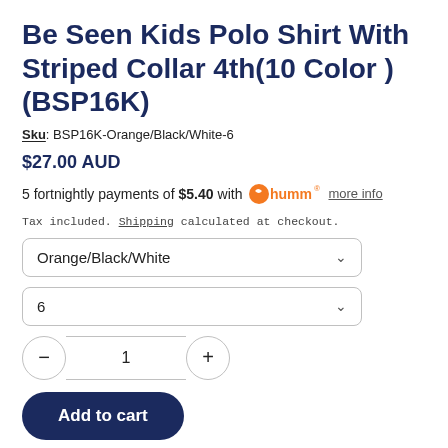Be Seen Kids Polo Shirt With Striped Collar 4th(10 Color ) (BSP16K)
Sku: BSP16K-Orange/Black/White-6
$27.00 AUD
5 fortnightly payments of $5.40 with humm more info
Tax included. Shipping calculated at checkout.
Orange/Black/White
6
1
Add to cart